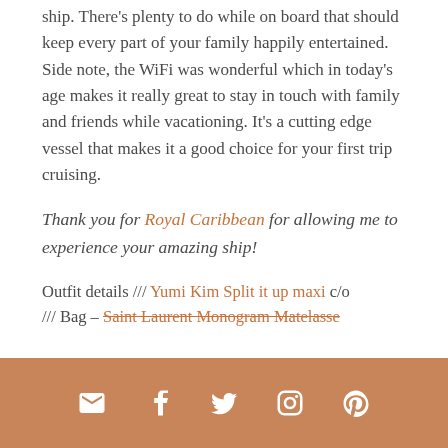ship.  There's plenty to do while on board that should keep every part of your family happily entertained.  Side note, the WiFi was wonderful which in today's age makes it really great to stay in touch with family and friends while vacationing.  It's a cutting edge vessel that makes it a good choice for your first trip cruising.
Thank you for Royal Caribbean for allowing me to experience your amazing ship!
Outfit details /// Yumi Kim Split it up maxi c/o /// Bag – Saint Laurent Monogram Matelasse